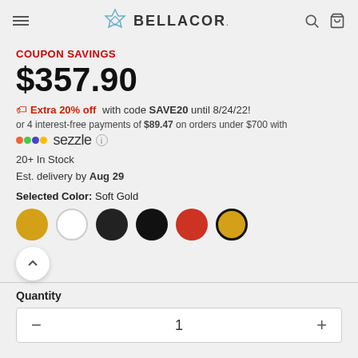BELLACOR
COUPON SAVINGS
$357.90
Extra 20% off with code SAVE20 until 8/24/22!
or 4 interest-free payments of $89.47 on orders under $700 with Sezzle
20+ In Stock
Est. delivery by Aug 29
Selected Color: Soft Gold
[Figure (illustration): Color swatches: golden yellow, white, black, dark black, red, gold with selected border]
Quantity
1